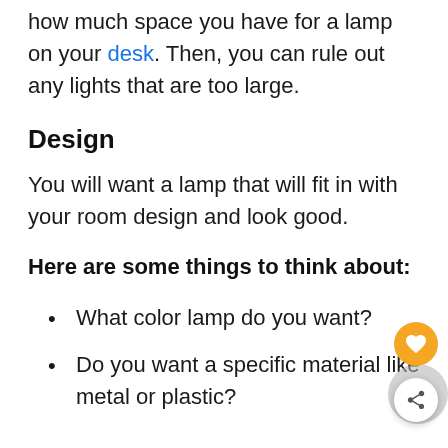how much space you have for a lamp on your desk. Then, you can rule out any lights that are too large.
Design
You will want a lamp that will fit in with your room design and look good.
Here are some things to think about:
What color lamp do you want?
Do you want a specific material like metal or plastic?